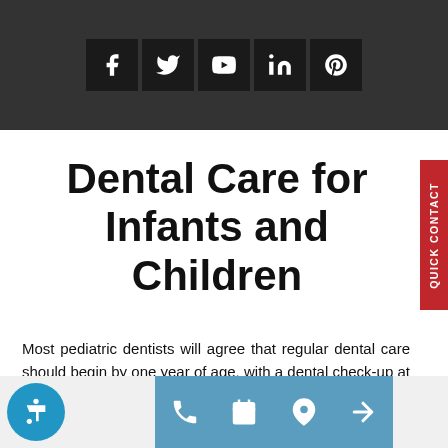[Figure (other): Dark header bar with social media icons: Facebook, Twitter, YouTube, LinkedIn, Pinterest]
Dental Care for Infants and Children
Most pediatric dentists will agree that regular dental care should begin by one year of age, with a dental check-up at least twice each consecutive year for most children. Some
[Figure (other): Bottom navigation bar with accessibility icon, phone, calendar, location, and share buttons]